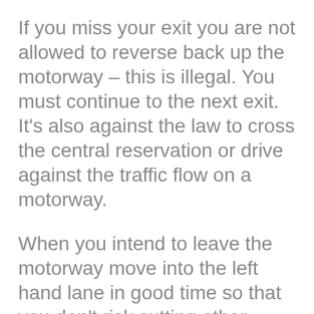If you miss your exit you are not allowed to reverse back up the motorway – this is illegal. You must continue to the next exit. It's also against the law to cross the central reservation or drive against the traffic flow on a motorway.
When you intend to leave the motorway move into the left hand lane in good time so that you don't risk cutting other drivers off.
You can leave the motorway at rest areas and service stations if you are feeling tired and need to recharge or refuel.
© 2010-2022 DT Driver Training Ltd. Crown copyright material is reproduced under licence from the Driver and Vehicle